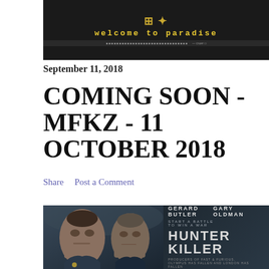[Figure (photo): Movie banner for MFKZ (Mutafukaz) showing brass knuckles icon and 'welcome to paradise' text on dark background, with film credits bar at bottom]
September 11, 2018
COMING SOON - MFKZ - 11 OCTOBER 2018
Share    Post a Comment
[Figure (photo): Movie poster for Hunter Killer featuring Gerard Butler and Gary Oldman with tagline 'START A BATTLE TO WIN A WAR']